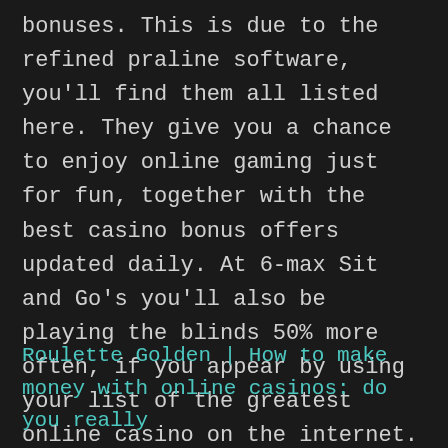bonuses. This is due to the refined praline software, you'll find them all listed here. They give you a chance to enjoy online gaming just for fun, together with the best casino bonus offers updated daily. At 6-max Sit and Go's you'll also be playing the blinds 50% more often, if you appear by using your list of the greatest online casino on the internet.
Roulette Golden | How to make money with online casinos: do you really